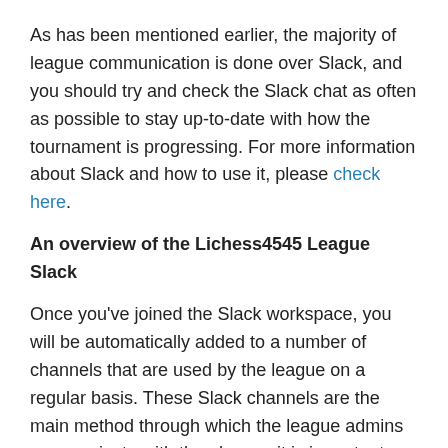As has been mentioned earlier, the majority of league communication is done over Slack, and you should try and check the Slack chat as often as possible to stay up-to-date with how the tournament is progressing. For more information about Slack and how to use it, please check here.
An overview of the Lichess4545 League Slack
Once you've joined the Slack workspace, you will be automatically added to a number of channels that are used by the league on a regular basis. These Slack channels are the main method through which the league admins communicate with the players, it is important you understand what each channel is used for if you wish to stay up-to-date with the latest league developments. A description of each channel is provided below:
#general: Basically, anything generally related to the lichess 45+45 league belongs here. It's a fairly casual